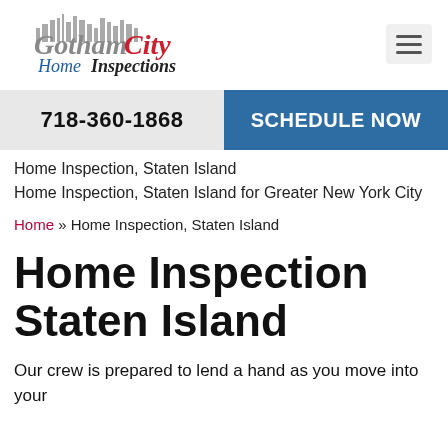[Figure (logo): Gotham City Home Inspections logo with city skyline silhouette and stylized text]
718-360-1868
SCHEDULE NOW
Home Inspection, Staten Island
Home Inspection, Staten Island for Greater New York City
Home » Home Inspection, Staten Island
Home Inspection Staten Island
Our crew is prepared to lend a hand as you move into your